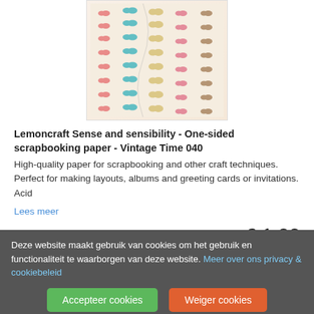[Figure (photo): Product photo of a butterfly-themed scrapbooking paper sheet showing rows of colorful butterflies in pink, blue, teal, beige, and brown colors arranged in columns on a cream/beige background.]
Lemoncraft Sense and sensibility - One-sided scrapbooking paper - Vintage Time 040
High-quality paper for scrapbooking and other craft techniques. Perfect for making layouts, albums and greeting cards or invitations. Acid
Lees meer
€ 1,00
1  Nu bestellen
Deze website maakt gebruik van cookies om het gebruik en functionaliteit te waarborgen van deze website. Meer over ons privacy & cookiebeleid
Accepteer cookies  Weiger cookies